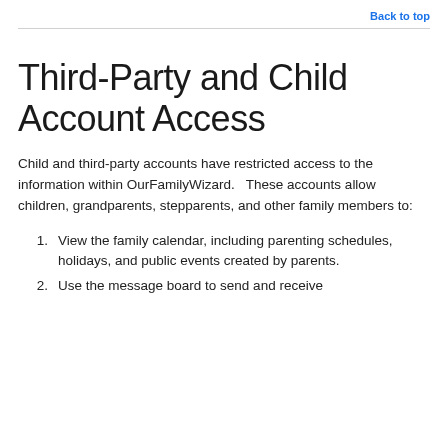Back to top
Third-Party and Child Account Access
Child and third-party accounts have restricted access to the information within OurFamilyWizard.   These accounts allow children, grandparents, stepparents, and other family members to:
View the family calendar, including parenting schedules, holidays, and public events created by parents.
Use the message board to send and receive...